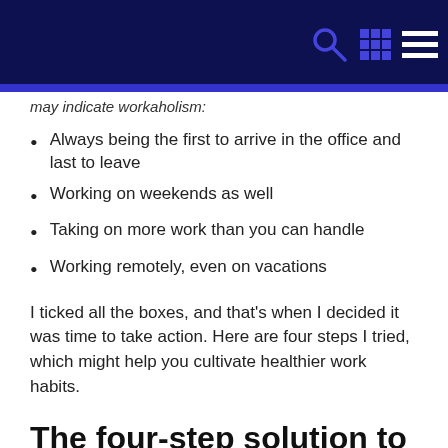[Navigation header with search, grid, and menu icons]
may indicate workaholism:
Always being the first to arrive in the office and last to leave
Working on weekends as well
Taking on more work than you can handle
Working remotely, even on vacations
I ticked all the boxes, and that's when I decided it was time to take action. Here are four steps I tried, which might help you cultivate healthier work habits.
The four-step solution to workaholism
It's important for people to focus on their health